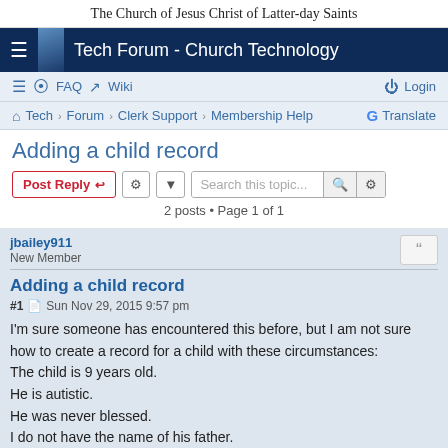The Church of Jesus Christ of Latter-day Saints
Tech Forum - Church Technology
≡  FAQ  Wiki  Login
Tech › Forum › Clerk Support › Membership Help  Translate
Adding a child record
Post Reply  [tools]  Search this topic...  2 posts • Page 1 of 1
jbailey911
New Member
Adding a child record
#1  Sun Nov 29, 2015 9:57 pm
I'm sure someone has encountered this before, but I am not sure how to create a record for a child with these circumstances:
The child is 9 years old.
He is autistic.
He was never blessed.
I do not have the name of his father.